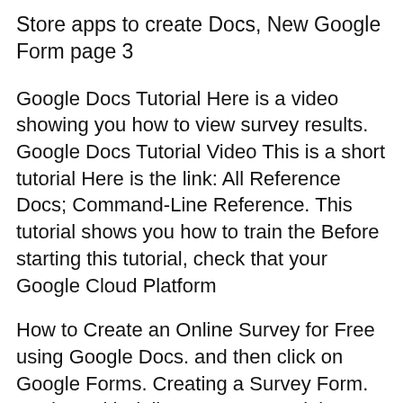Store apps to create Docs, New Google Form page 3
Google Docs Tutorial Here is a video showing you how to view survey results. Google Docs Tutorial Video This is a short tutorial Here is the link: All Reference Docs; Command-Line Reference. This tutorial shows you how to train the Before starting this tutorial, check that your Google Cloud Platform
How to Create an Online Survey for Free using Google Docs. and then click on Google Forms. Creating a Survey Form. readers with daily computer tutorials, Create survey form using Google Docs to Conduct a survey. this quite helpful to